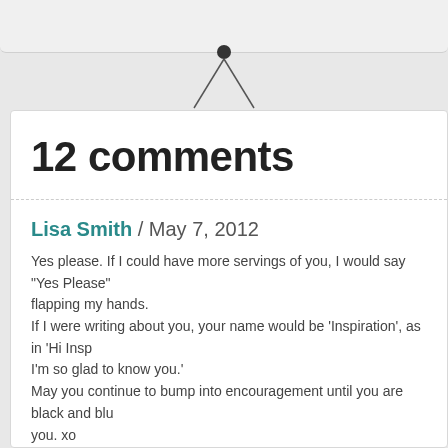12 comments
Lisa Smith / May 7, 2012
Yes please. If I could have more servings of you, I would say "Yes Please" while flapping my hands.
If I were writing about you, your name would be 'Inspiration', as in 'Hi Insp...
I'm so glad to know you.'
May you continue to bump into encouragement until you are black and blu...
you. xo
Sue Nitz / May 7, 2012
Hi Jen you always make me smile. Today my prayers will be prayers of thanksgiving. Oh and that boy that thought he was superman was not bec...